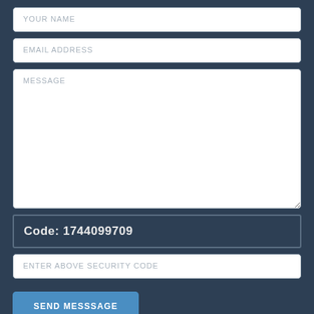YOUR NAME
EMAIL ADDRESS
MESSAGE
Code: 1744099709
ENTER ABOVE SECURITY CODE
SEND MESSSAGE